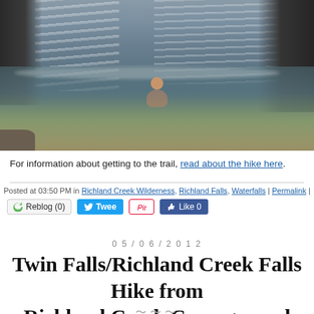[Figure (photo): Person swimming in a natural pool beneath a waterfall, with dark rocky cliffs on either side and cascading white water in the background.]
For information about getting to the trail, read about the hike here.
Posted at 03:50 PM in Richland Creek Wilderness, Richland Falls, Waterfalls | Permalink |
Reblog (0)  Tweet  Pin it  Like 0
05/06/2012
Twin Falls/Richland Creek Falls Hike from Richland Creek Campground